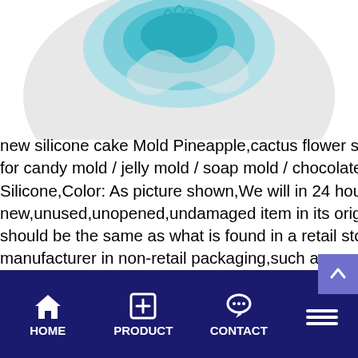[Figure (photo): Partial view of a silicone cake mold product in a circular plate, showing teal/blue colored pineapple, cactus, and flower shaped molds on a white/grey background.]
new silicone cake Mold Pineapple,cactus flower stars Multicolor mold baking,[shape]: Multicolor mold,2: Suitable for candy mold / jelly mold / soap mold / chocolate mould/cake mold,Material: Silicone,1: Made of high quality Silicone,Color: As picture shown,We will in 24 hours to give you satisfactory reply,Condition:: New: A brand-new,unused,unopened,undamaged item in its original packaging,where packaging is applicable,Packaging should be the same as what is found in a retail store,unless the item is handmade or was packaged by the manufacturer in non-retail packaging,such as an unprinted box or plastic bag,See the seller's listing for full details,See all condition definitions : Country/Region of Manufacture: : China,Brand: : Unbranded: MPN: : Does Not Apply
HOME   PRODUCT   CONTACT